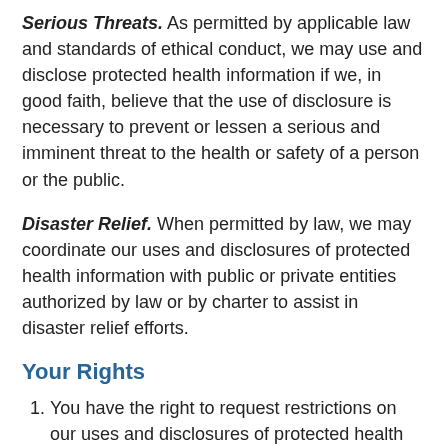Serious Threats. As permitted by applicable law and standards of ethical conduct, we may use and disclose protected health information if we, in good faith, believe that the use of disclosure is necessary to prevent or lessen a serious and imminent threat to the health or safety of a person or the public.
Disaster Relief. When permitted by law, we may coordinate our uses and disclosures of protected health information with public or private entities authorized by law or by charter to assist in disaster relief efforts.
Your Rights
You have the right to request restrictions on our uses and disclosures of protected health information for treatment, payment and health care operations. However, we are not required to agree to your request.
You have the right to reasonably request to receive communications of protected health information by